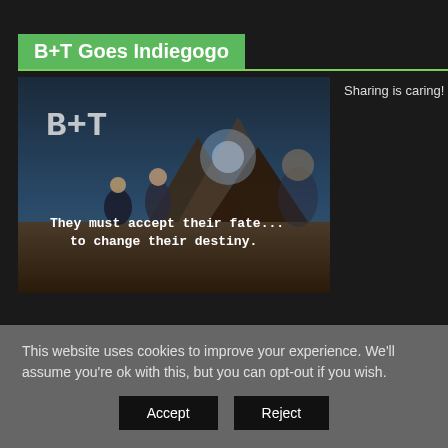B+T Goes Indiegogo
Sharing is caring!
[Figure (illustration): Movie promotional image for B+T showing two figures standing in a dramatic landscape with text overlay: 'They must accept their fate... to change their destiny.']
This website uses cookies to improve your experience. We'll assume you're ok with this, but you can opt-out if you wish.
Accept
Reject